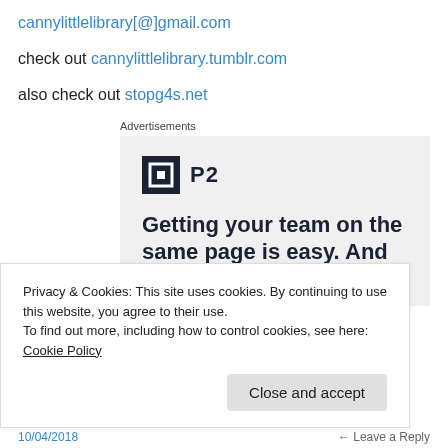cannylittlelibrary[@]gmail.com
check out cannylittlelibrary.tumblr.com
also check out stopg4s.net
Advertisements
[Figure (screenshot): P2 advertisement: logo with dark square icon and 'P2' text, headline reads 'Getting your team on the same page is easy. And free.']
Privacy & Cookies: This site uses cookies. By continuing to use this website, you agree to their use.
To find out more, including how to control cookies, see here: Cookie Policy
Close and accept
10/04/2018    ← Leave a Reply